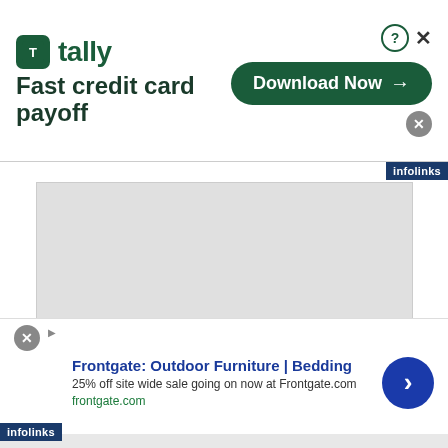[Figure (screenshot): Tally 'Fast credit card payoff' advertisement banner with green Download Now button, question mark icon, and X close button]
[Figure (screenshot): Gray placeholder rectangle for an advertisement image (infolinks)]
And what’s in store for your ears if you take this plunge? Well, we’re already cringing from all this self-promotion, so we’ll turn it over to Nathan
[Figure (screenshot): Frontgate: Outdoor Furniture | Bedding advertisement. 25% off site wide sale going on now at Frontgate.com. frontgate.com with blue arrow circle button.]